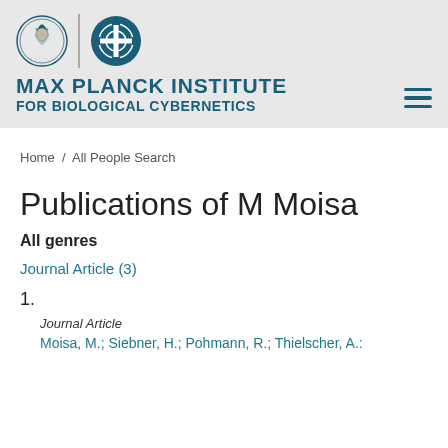[Figure (logo): Max Planck Institute for Biological Cybernetics logo with two emblems and institute name]
Home / All People Search
Publications of M Moisa
All genres
Journal Article (3)
1.
Journal Article
Moisa, M.; Siebner, H.; Pohmann, R.; Thielscher, A.: